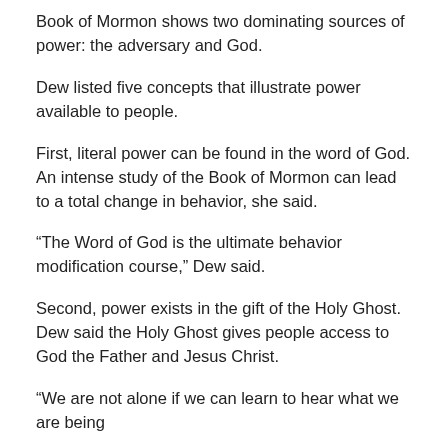Book of Mormon shows two dominating sources of power: the adversary and God.
Dew listed five concepts that illustrate power available to people.
First, literal power can be found in the word of God. An intense study of the Book of Mormon can lead to a total change in behavior, she said.
“The Word of God is the ultimate behavior modification course,” Dew said.
Second, power exists in the gift of the Holy Ghost. Dew said the Holy Ghost gives people access to God the Father and Jesus Christ.
“We are not alone if we can learn to hear what we are being